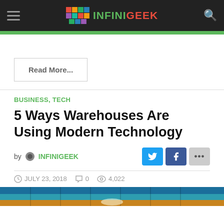INFINIGEEK navigation bar with logo
Read More...
BUSINESS, TECH
5 Ways Warehouses Are Using Modern Technology
by INFINIGEEK
JULY 23, 2018   0   4,022
[Figure (photo): Warehouse interior with modern technology, colorful shelving visible at bottom of page]